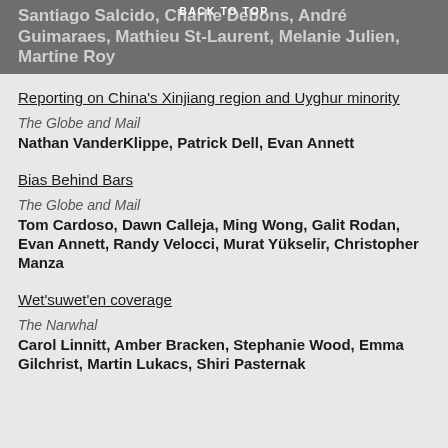BACK TO TOP
Santiago Salcido, Charlie Debons, André Guimaraes, Mathieu St-Laurent, Melanie Julien, Martine Roy
Reporting on China's Xinjiang region and Uyghur minority
The Globe and Mail
Nathan VanderKlippe, Patrick Dell, Evan Annett
Bias Behind Bars
The Globe and Mail
Tom Cardoso, Dawn Calleja, Ming Wong, Galit Rodan, Evan Annett, Randy Velocci, Murat Yükselir, Christopher Manza
Wet'suwet'en coverage
The Narwhal
Carol Linnitt, Amber Bracken, Stephanie Wood, Emma Gilchrist, Martin Lukacs, Shiri Pasternak